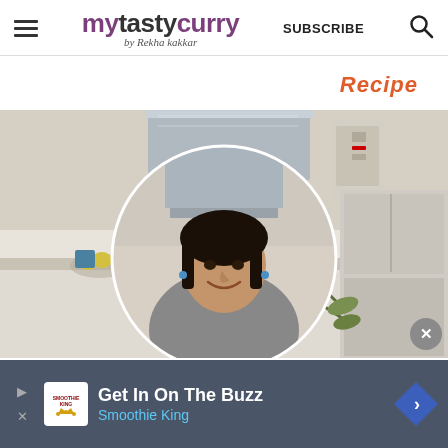mytastycurry by Rekha kakkar — SUBSCRIBE
Recipe
[Figure (photo): Woman standing in a modern kitchen inside a circular frame, smiling at camera, with stainless steel range hood and kitchen appliances behind her]
Get In On The Buzz — Smoothie King (advertisement banner)